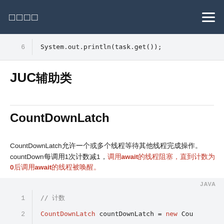□□□□
System.out.println(task.get());
JUC辅助类
CountDownLatch
CountDownLatch允许一个或多个线程等待其他线程完成操作。countDown每调用1次计数减1，await阻塞直到计数为0后await等待的线程被唤醒。
// 计数
CountDownLatch countDownLatch = new Cou

for (int i = 0; i < 6; i++) {
    new Thread(() -> {